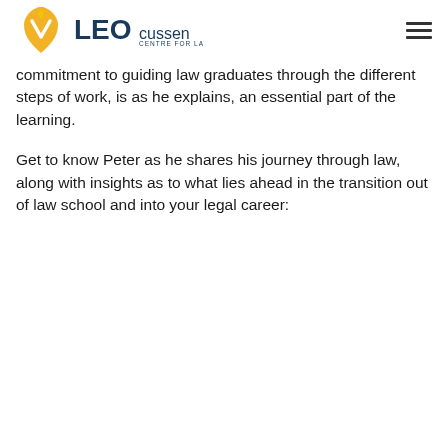LEO Cussen Centre for Law
commitment to guiding law graduates through the different steps of work, is as he explains, an essential part of the learning.
Get to know Peter as he shares his journey through law, along with insights as to what lies ahead in the transition out of law school and into your legal career: